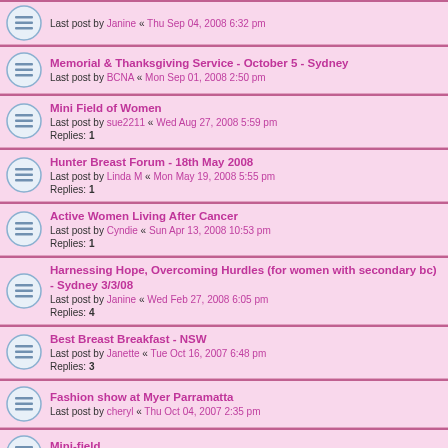Last post by Janine « Thu Sep 04, 2008 6:32 pm
Memorial & Thanksgiving Service - October 5 - Sydney
Last post by BCNA « Mon Sep 01, 2008 2:50 pm
Mini Field of Women
Last post by sue2211 « Wed Aug 27, 2008 5:59 pm
Replies: 1
Hunter Breast Forum - 18th May 2008
Last post by Linda M « Mon May 19, 2008 5:55 pm
Replies: 1
Active Women Living After Cancer
Last post by Cyndie « Sun Apr 13, 2008 10:53 pm
Replies: 1
Harnessing Hope, Overcoming Hurdles (for women with secondary bc) - Sydney 3/3/08
Last post by Janine « Wed Feb 27, 2008 6:05 pm
Replies: 4
Best Breast Breakfast - NSW
Last post by Janette « Tue Oct 16, 2007 6:48 pm
Replies: 3
Fashion show at Myer Parramatta
Last post by cheryl « Thu Oct 04, 2007 2:35 pm
Mini-field
Last post by Susan Helen Cohen « Wed Sep 19, 2007 2:18 pm
Cansupport Meetings Royal North Shore Hospital
Last post by bec1920 « Mon Jul 16, 2007 5:25 pm
Field of Women Live - Sydney - 11th Aug 07
Last post by Janine « Mon Jun 04, 2007 12:34 am
Replies: 2